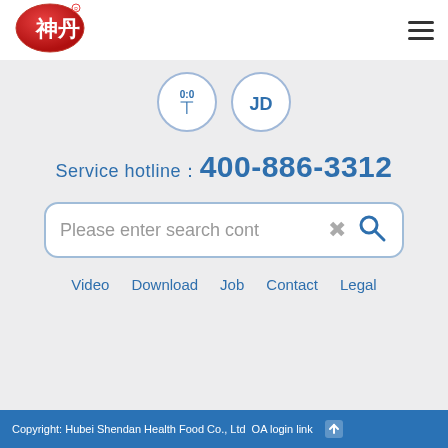[Figure (logo): Shendan brand logo - red oval with Chinese characters 神丹 in white]
[Figure (illustration): Two circular platform icons: Tmall (0:0 figure) and JD.com (JD text)]
Service hotline：400-886-3312
[Figure (screenshot): Search input bar with placeholder 'Please enter search cont' and clear/search icons]
Video
Download
Job
Contact
Legal
Copyright: Hubei Shendan Health Food Co., Ltd    OA login link ↑